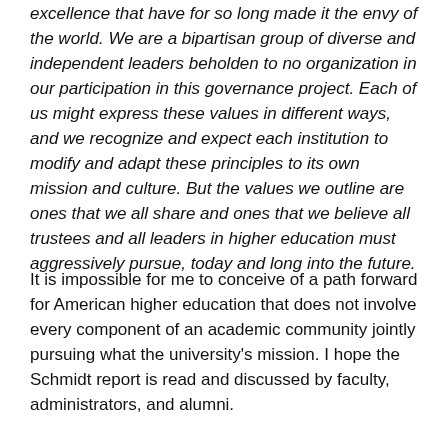excellence that have for so long made it the envy of the world. We are a bipartisan group of diverse and independent leaders beholden to no organization in our participation in this governance project. Each of us might express these values in different ways, and we recognize and expect each institution to modify and adapt these principles to its own mission and culture. But the values we outline are ones that we all share and ones that we believe all trustees and all leaders in higher education must aggressively pursue, today and long into the future.
It is impossible for me to conceive of a path forward for American higher education that does not involve every component of an academic community jointly pursuing what the university's mission. I hope the Schmidt report is read and discussed by faculty, administrators, and alumni.